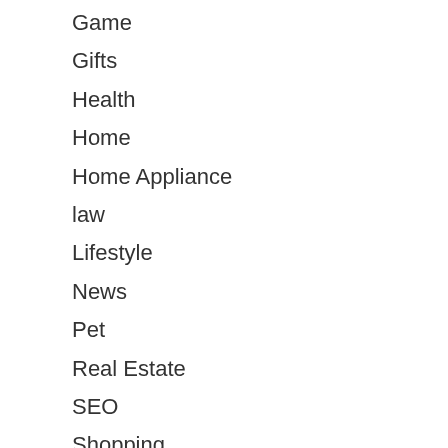Game
Gifts
Health
Home
Home Appliance
law
Lifestyle
News
Pet
Real Estate
SEO
Shopping
Sports
Technology